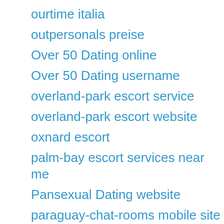ourtime italia
outpersonals preise
Over 50 Dating online
Over 50 Dating username
overland-park escort service
overland-park escort website
oxnard escort
palm-bay escort services near me
Pansexual Dating website
paraguay-chat-rooms mobile site
parship connexion
pasadena the escort
pasadena-1 escort radar
passion-com-recenze Mobilní stránka
passion.com funziona